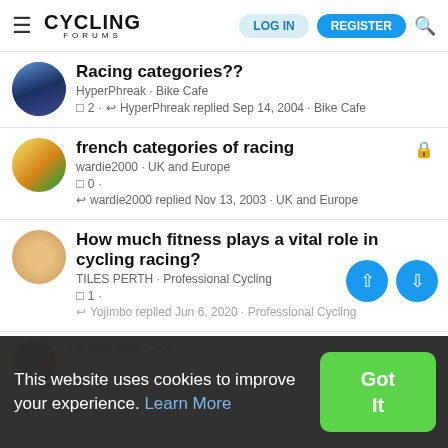Cycling Forums — LOG IN | REGISTER
Racing categories??
HyperPhreak · Bike Cafe
💬 2 · ↩ HyperPhreak replied Sep 14, 2004 · Bike Cafe
french categories of racing
wardie2000 · UK and Europe
💬 0 ·
↩ wardie2000 replied Nov 13, 2003 · UK and Europe
How much fitness plays a vital role in cycling racing?
TILES PERTH · Professional Cycling
💬 1 ·
↩ Yojimbo replied Jun 6, 2020 · Professional Cycling
This website uses cookies to improve your experience. Learn More
Got It